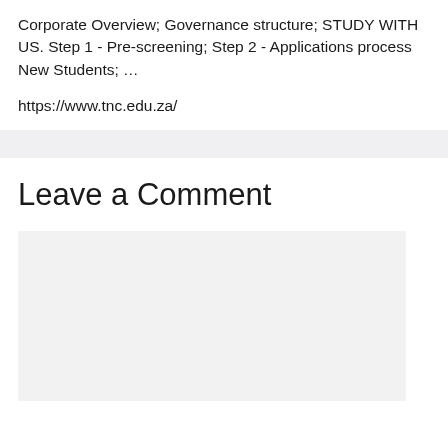Corporate Overview; Governance structure; STUDY WITH US. Step 1 - Pre-screening; Step 2 - Applications process New Students; …
https://www.tnc.edu.za/
Leave a Comment